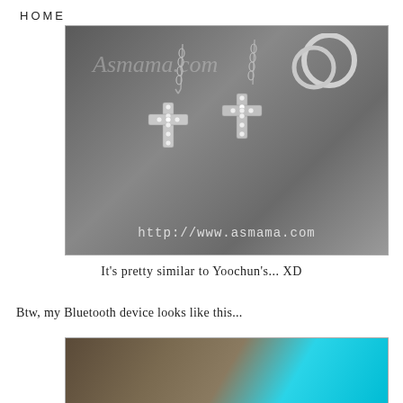HOME
[Figure (photo): Two silver cross keychains with rhinestones hanging from metal rings on a dark gray background. Watermark text 'Asmama.com' and URL 'http://www.asmama.com' visible.]
It's pretty similar to Yoochun's... XD
Btw, my Bluetooth device looks like this...
[Figure (photo): Partial photo showing what appears to be a Bluetooth device on a wooden surface with a blue light/glow visible in the upper right corner.]